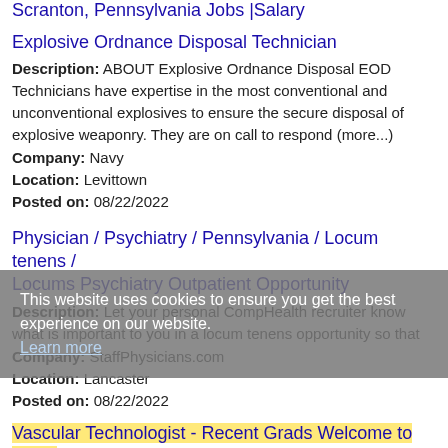Scranton, Pennsylvania Jobs |Salary
Explosive Ordnance Disposal Technician
Description: ABOUT Explosive Ordnance Disposal EOD Technicians have expertise in the most conventional and unconventional explosives to ensure the secure disposal of explosive weaponry. They are on call to respond (more...)
Company: Navy
Location: Levittown
Posted on: 08/22/2022
Physician / Psychiatry / Pennsylvania / Locum tenens / Locums Psychiatry Outpatient Opportunity
Description: Let your personal CompHealth recruiter know what is important to you in a locum tenens opportunity so that
Company: StaffPhysicians.com
Location: Lancaster
Posted on: 08/22/2022
This website uses cookies to ensure you get the best experience on our website. Learn more
Vascular Technologist - Recent Grads Welcome to Apply
Description: NAVIX is dedicated to providing superior diagnostic services that improve patient outcomes. Our passion and dedication to our patients and our employees are what sets us apart as a provider and an employer. (more...)